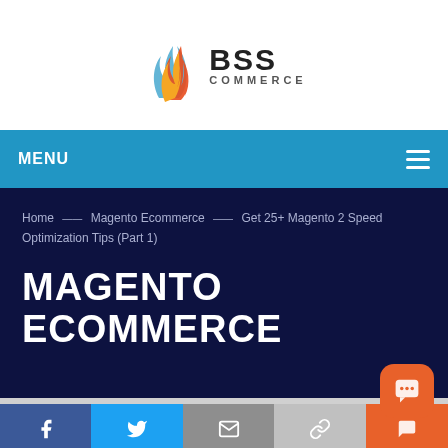[Figure (logo): BSS Commerce logo with flame icon and text BSS COMMERCE]
MENU
Home — Magento Ecommerce — Get 25+ Magento 2 Speed Optimization Tips (Part 1)
MAGENTO ECOMMERCE
[Figure (infographic): Social share bar with Facebook, Twitter, Email, Link, and Chat icons]